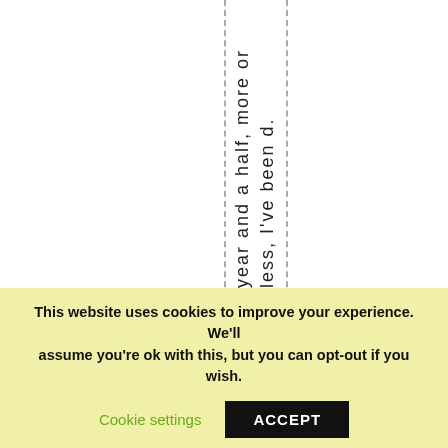year and a half, more or less, I've been d...
This website uses cookies to improve your experience. We'll assume you're ok with this, but you can opt-out if you wish. Cookie settings ACCEPT